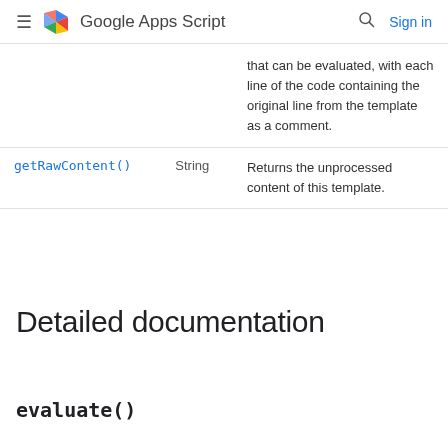Google Apps Script  Sign in
| Method | Return type | Brief description |
| --- | --- | --- |
|  |  | that can be evaluated, with each line of the code containing the original line from the template as a comment. |
| getRawContent() | String | Returns the unprocessed content of this template. |
Detailed documentation
evaluate()